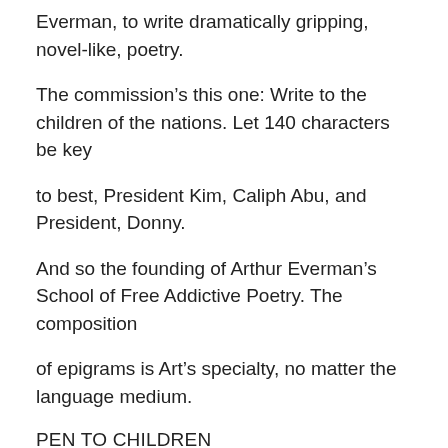Everman, to write dramatically gripping, novel-like, poetry.
The commission's this one: Write to the children of the nations. Let 140 characters be key
to best, President Kim, Caliph Abu, and President, Donny.
And so the founding of Arthur Everman's School of Free Addictive Poetry. The composition
of epigrams is Art's specialty, no matter the language medium.
PEN TO CHILDREN
The medium written of (in the prior tweet) refers to the tongue of the tweeter.